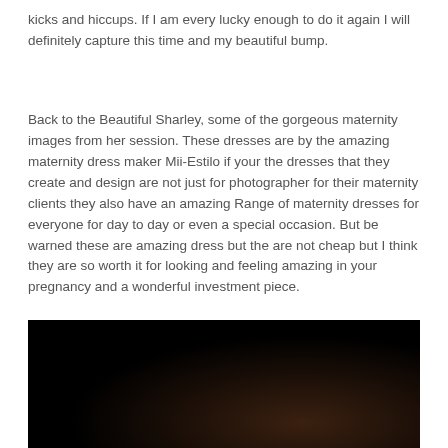kicks and hiccups. If I am every lucky enough to do it again I will definitely capture this time and my beautiful bump.
Back to the Beautiful Sharley, some of the gorgeous maternity images from her session. These dresses are by the amazing maternity dress maker Mii-Estilo if your the dresses that they create and design are not just for photographer for their maternity clients they also have an amazing Range of maternity dresses for everyone for day to day or even a special occasion. But be warned these are amazing dress but the are not cheap but I think they are so worth it for looking and feeling amazing in your pregnancy and a wonderful investment piece.
[Figure (photo): Dark/black photograph, mostly dark with a faint warm brownish glow in the lower right area, appearing to be a maternity photo session image.]